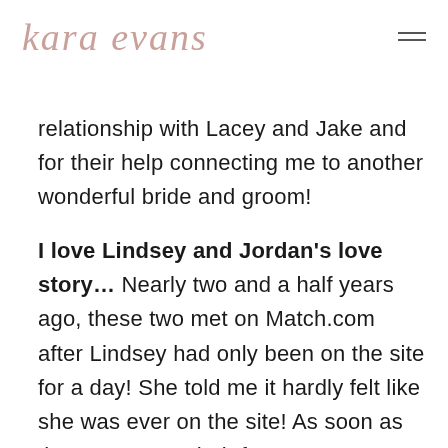kara evans
relationship with Lacey and Jake and for their help connecting me to another wonderful bride and groom!
I love Lindsey and Jordan's love story… Nearly two and a half years ago, these two met on Match.com after Lindsey had only been on the site for a day! She told me it hardly felt like she was ever on the site! As soon as these two met, their future